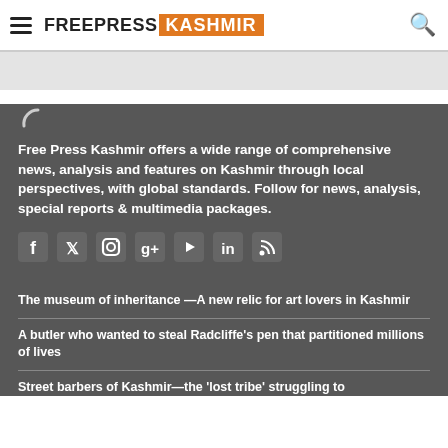FREEPRESS KASHMIR
[Figure (logo): FreePress Kashmir logo with hamburger menu on left and search icon on right]
Free Press Kashmir offers a wide range of comprehensive news, analysis and features on Kashmir through local perspectives, with global standards. Follow for news, analysis, special reports & multimedia packages.
[Figure (infographic): Social media icons: Facebook, Twitter, Instagram, Google+, YouTube, LinkedIn, RSS]
The museum of inheritance —A new relic for art lovers in Kashmir
A butler who wanted to steal Radcliffe's pen that partitioned millions of lives
Street barbers of Kashmir—the 'lost tribe' struggling to